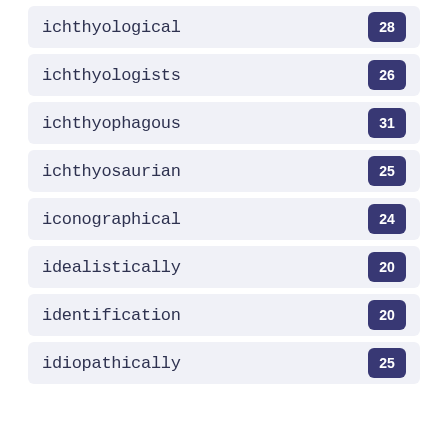ichthyological 28
ichthyologists 26
ichthyophagous 31
ichthyosaurian 25
iconographical 24
idealistically 20
identification 20
idiopathically 25